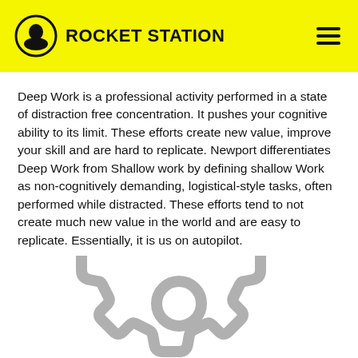ROCKET STATION
Deep Work is a professional activity performed in a state of distraction free concentration. It pushes your cognitive ability to its limit. These efforts create new value, improve your skill and are hard to replicate. Newport differentiates Deep Work from Shallow work by defining shallow Work as non-cognitively demanding, logistical-style tasks, often performed while distracted. These efforts tend to not create much new value in the world and are easy to replicate. Essentially, it is us on autopilot.
[Figure (illustration): Partial gear/cog icon in light gray, cropped at bottom of page]